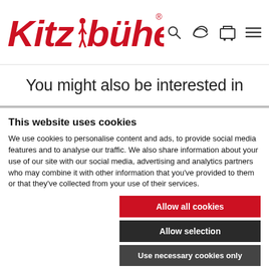Kitzbühel logo and navigation icons
You might also be interested in
This website uses cookies
We use cookies to personalise content and ads, to provide social media features and to analyse our traffic. We also share information about your use of our site with our social media, advertising and analytics partners who may combine it with other information that you've provided to them or that they've collected from your use of their services.
Allow all cookies
Allow selection
Use necessary cookies only
Necessary  Preferences  Statistics  Marketing  Show details